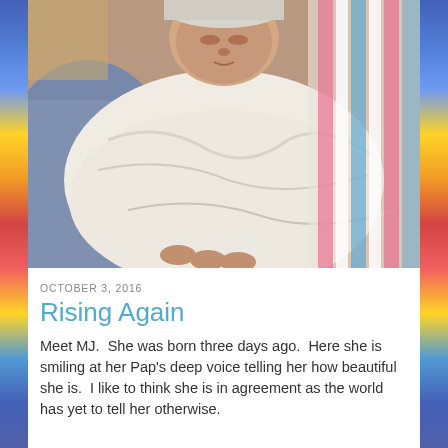[Figure (photo): Close-up photo of a newborn baby swaddled in a white hospital blanket with pink and blue striped trim, being held by an adult. The baby's face is slightly visible at top, and the swaddled body fills the frame.]
OCTOBER 3, 2016
Rising Again
Meet MJ.  She was born three days ago.  Here she is smiling at her Pap's deep voice telling her how beautiful she is.  I like to think she is in agreement as the world has yet to tell her otherwise.